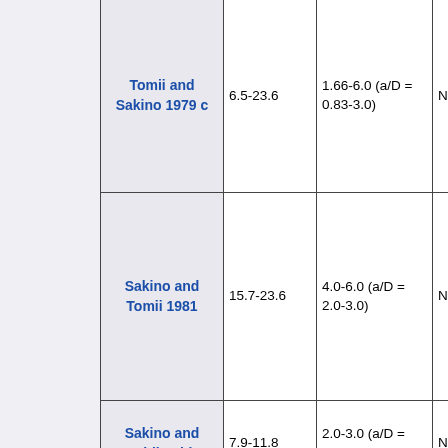| Reference | f'c Range | Parameter Range | N.A. |
| --- | --- | --- | --- |
| Tomii and Sakino 1979 c | 6.5-23.6 | 1.66-6.0 (a/D = 0.83-3.0) | N.A. |
| Sakino and Tomii 1981 | 15.7-23.6 | 4.0-6.0 (a/D = 2.0-3.0) | N.A. |
| Sakino and Ishibashi | 7.9-11.8 | 2.0-3.0 (a/D = 1.0-1.5) | N.A. |